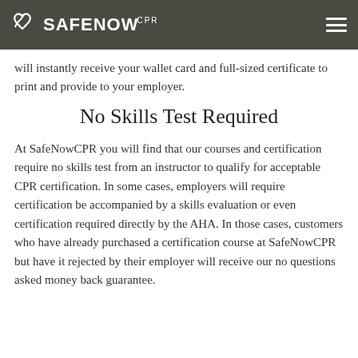Safe Now CPR
will instantly receive your wallet card and full-sized certificate to print and provide to your employer.
No Skills Test Required
At SafeNowCPR you will find that our courses and certification require no skills test from an instructor to qualify for acceptable CPR certification. In some cases, employers will require certification be accompanied by a skills evaluation or even certification required directly by the AHA. In those cases, customers who have already purchased a certification course at SafeNowCPR but have it rejected by their employer will receive our no questions asked money back guarantee.